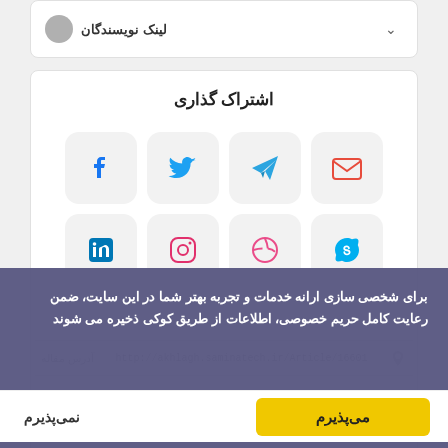لینک نویسندگان
اشتراک گذاری
[Figure (screenshot): Social sharing buttons grid: row 1 - email (red envelope), Telegram (blue paper plane), Twitter (blue bird), Facebook (blue f). Row 2 - Skype (blue S), Dribbble (pink ball), Instagram (pink camera), LinkedIn (blue in).]
برای شخصی سازی ارانه خدمات و تجربه بهتر شما در این سایت، ضمن رعایت کامل حریم خصوصی، اطلاعات از طریق کوکی ذخیره می شوند
آدرس مقاله
http://akhlagh.saminatech.ir/Article/16601
می‌پذیرم
نمی‌پذیرم